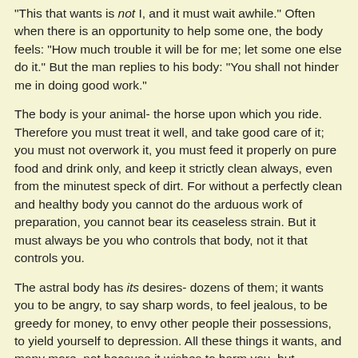"This that wants is not I, and it must wait awhile." Often when there is an opportunity to help some one, the body feels: "How much trouble it will be for me; let some one else do it." But the man replies to his body: "You shall not hinder me in doing good work."
The body is your animal- the horse upon which you ride. Therefore you must treat it well, and take good care of it; you must not overwork it, you must feed it properly on pure food and drink only, and keep it strictly clean always, even from the minutest speck of dirt. For without a perfectly clean and healthy body you cannot do the arduous work of preparation, you cannot bear its ceaseless strain. But it must always be you who controls that body, not it that controls you.
The astral body has its desires- dozens of them; it wants you to be angry, to say sharp words, to feel jealous, to be greedy for money, to envy other people their possessions, to yield yourself to depression. All these things it wants, and many more, not because it wishes to harm you, but because it likes violent vibrations, and likes to change them constantly. But you want none of these things, and therefore you must discriminate between your wants and your body's.
Your mental body wishes to think itself proudly separate, to